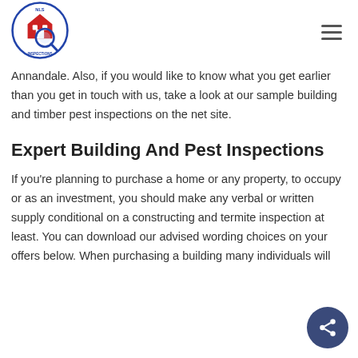[Figure (logo): NLS Inspections circular logo with house and magnifying glass icon, red and blue colors]
Annandale. Also, if you would like to know what you get earlier than you get in touch with us, take a look at our sample building and timber pest inspections on the net site.
Expert Building And Pest Inspections
If you’re planning to purchase a home or any property, to occupy or as an investment, you should make any verbal or written supply conditional on a constructing and termite inspection at least. You can download our advised wording choices on your offers below. When purchasing a building many individuals will